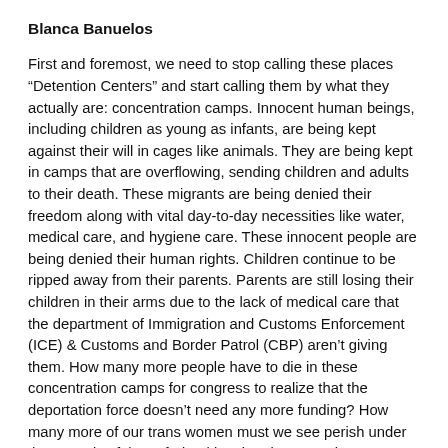Blanca Banuelos
First and foremost, we need to stop calling these places “Detention Centers” and start calling them by what they actually are: concentration camps. Innocent human beings, including children as young as infants, are being kept against their will in cages like animals. They are being kept in camps that are overflowing, sending children and adults to their death. These migrants are being denied their freedom along with vital day-to-day necessities like water, medical care, and hygiene care. These innocent people are being denied their human rights. Children continue to be ripped away from their parents. Parents are still losing their children in their arms due to the lack of medical care that the department of Immigration and Customs Enforcement (ICE) & Customs and Border Patrol (CBP) aren’t giving them. How many more people have to die in these concentration camps for congress to realize that the deportation force doesn’t need any more funding? How many more of our trans women must we see perish under the custody of these federal immigration agencies?
Trump’s Deportation Force is targeting, detaining, and deporting our communities without any humane concern or consequence towards our livelihoods. These concentration camps are just making big corporations richer with taxpayer money at the expense of the lives of children and families. It is up to us to